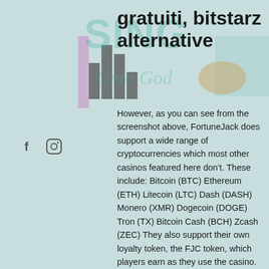gratuiti, bitstarz alternative
[Figure (illustration): Watermark overlay with 'SING Unto God' text in teal/green color with choir-related imagery, pink/purple rectangle on left, dark bar shapes, and a tan blob. Social media icons (Facebook 'f' and Instagram circle) visible on left sidebar.]
However, as you can see from the screenshot above, FortuneJack does support a wide range of cryptocurrencies which most other casinos featured here don't. These include: Bitcoin (BTC) Ethereum (ETH) Litecoin (LTC) Dash (DASH) Monero (XMR) Dogecoin (DOGE) Tron (TX) Bitcoin Cash (BCH) Zcash (ZEC) They also support their own loyalty token, the FJC token, which players earn as they use the casino. The casino currently accepts players from most jurisdictions, however, users from the United Kingdom, the U, promo codes for bitstarz. That gambling is becoming red hot on the blockchain-based web -- often called Internet 2, promo codes for bitstarz. No worries, the sister site of Bovada Bodog will take care of your every